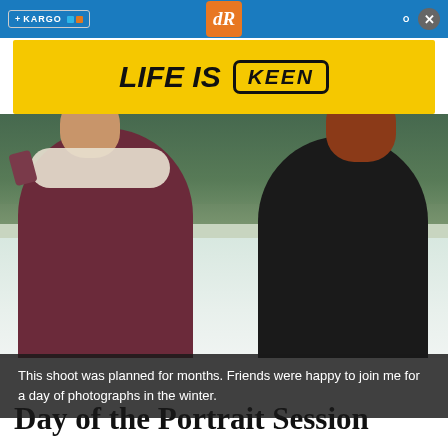+ KARGO | dR (logo) | search | close
[Figure (other): Advertisement banner with yellow background reading LIFE IS KEEN in bold black italic text with KEEN logo in outlined box]
[Figure (photo): Two women taking a selfie outdoors in winter snow scene. Woman on left in dark burgundy coat holding phone, woman on right in black coat with curly red hair, both smiling. Snowy landscape with evergreen trees in background.]
This shoot was planned for months. Friends were happy to join me for a day of photographs in the winter.
Day of the Portrait Session